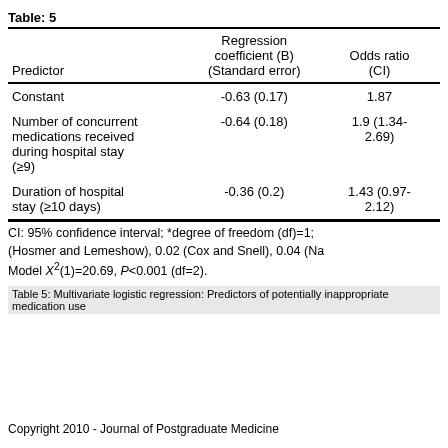| Predictor | Regression coefficient (B) (Standard error) | Odds ratio (CI) |
| --- | --- | --- |
| Constant | -0.63 (0.17) | 1.87 |
| Number of concurrent medications received during hospital stay (≥9) | -0.64 (0.18) | 1.9 (1.34-2.69) |
| Duration of hospital stay (≥10 days) | -0.36 (0.2) | 1.43 (0.97-2.12) |
CI: 95% confidence interval; *degree of freedom (df)=1; (Hosmer and Lemeshow), 0.02 (Cox and Snell), 0.04 (Na Model X²(1)=20.69, P<0.001 (df=2).
Table 5: Multivariate logistic regression: Predictors of potentially inappropriate medication use
Copyright 2010 - Journal of Postgraduate Medicine